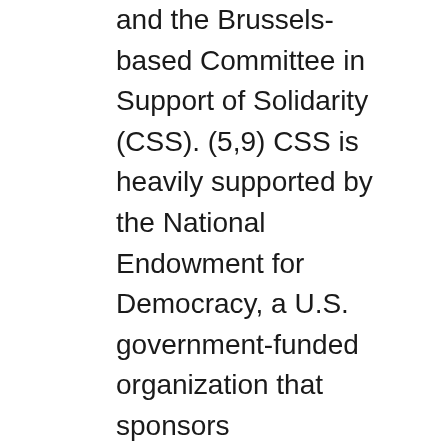and the Brussels-based Committee in Support of Solidarity (CSS). (5,9) CSS is heavily supported by the National Endowment for Democracy, a U.S. government-funded organization that sponsors anticommunist,"democracy-building" projects around the world. (10)
Bruce McColm and Douglas Payne represented SD/USA on the Socialist International observer delegation to the February 1989 Paraguayan elections. (16) McColm is the executive director of Freedom House, an anticommunist human rights organization that studies governments and countries around the globe to determine whether or not they qualify as "democratic." Payne is the director of hemispheric studies at Freedom House. (11) Payne also represented SD/USA at the